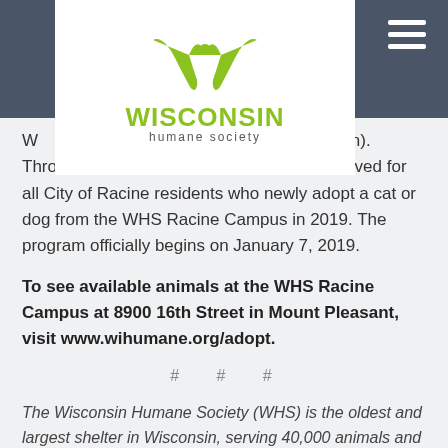[Figure (logo): Wisconsin Humane Society logo with green W-shaped bird/animal mark above the text 'WISCONSIN humane society']
red prior to adoption). Through this program, those fees will be waived for all City of Racine residents who newly adopt a cat or dog from the WHS Racine Campus in 2019. The program officially begins on January 7, 2019.
To see available animals at the WHS Racine Campus at 8900 16th Street in Mount Pleasant, visit www.wihumane.org/adopt.
# # #
The Wisconsin Humane Society (WHS) is the oldest and largest shelter in Wisconsin, serving 40,000 animals and their families every year. WHS is an independent nonprofit and receives no